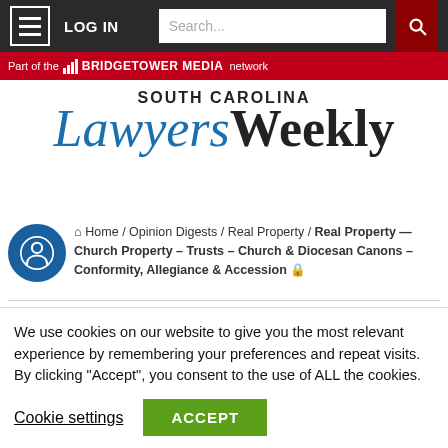LOG IN | Search... | [hamburger menu] [search icon]
[Figure (logo): BridgeTower Media network banner - red background with logo]
[Figure (logo): South Carolina Lawyers Weekly logo - blue italic Lawyers and bold black Weekly]
Home / Opinion Digests / Real Property / Real Property — Church Property – Trusts – Church & Diocesan Canons – Conformity, Allegiance & Accession
Real Property — Church Property – Trusts – Church & Diocesan Canons – Conformity, Allegiance & Accession
We use cookies on our website to give you the most relevant experience by remembering your preferences and repeat visits. By clicking "Accept", you consent to the use of ALL the cookies.
Cookie settings | ACCEPT